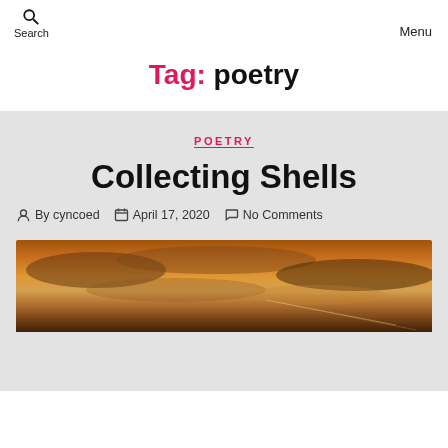Search   Menu
Tag: poetry
POETRY
Collecting Shells
By cyncoed   April 17, 2020   No Comments
[Figure (photo): Sunset sky with dramatic clouds in orange, gold, and brown tones]